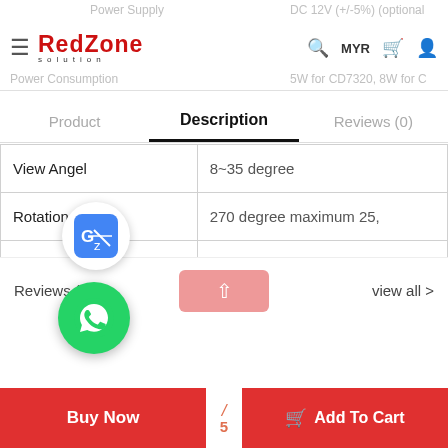RedZone Solution — MYR
Description (active tab)
| Specification | Value |
| --- | --- |
| View Angel | 8~35 degree |
| Rotation Angel | 270 degree maximum 25, |
| MTBF | 25,000 hours |
| ensions | 230(w) x 80 (H) x 40 (0) m |
| Certification | FCC Class B, CE Class B |
Reviews (0)
view all >
Buy Now
Add To Cart